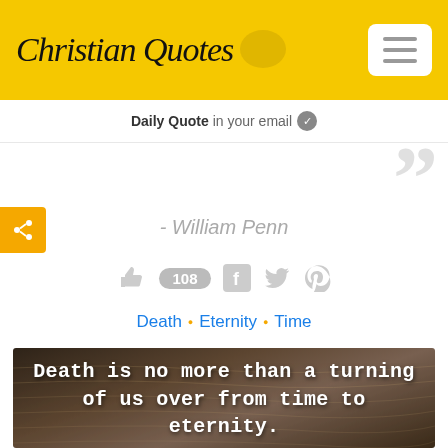Christian Quotes
Daily Quote in your email
- William Penn
108 likes • social icons
Death • Eternity • Time
[Figure (illustration): Dark background image with white monospace text reading: Death is no more than a turning of us over from time to eternity. A fingerprint or face silhouette appears at the bottom.]